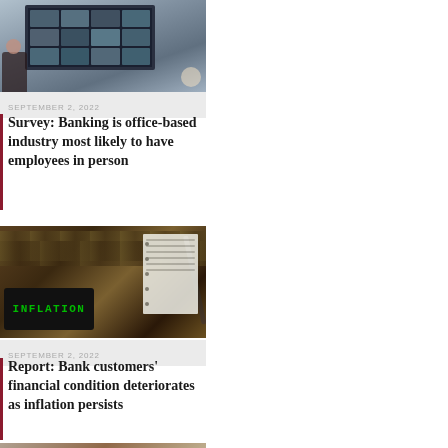[Figure (photo): Person viewing a video conference call on a laptop computer, aerial view, on a wooden desk]
SEPTEMBER 2, 2022
Survey: Banking is office-based industry most likely to have employees in person
[Figure (photo): Calculator displaying the word INFLATION on its screen, surrounded by US dollar bills and a pen on a notepad]
SEPTEMBER 2, 2022
Report: Bank customers' financial condition deteriorates as inflation persists
[Figure (photo): Partial image of a financial or related topic]